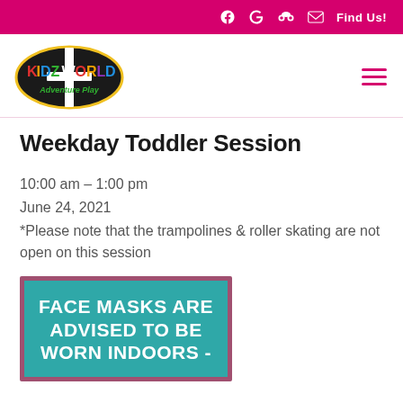Kidzworld Adventure Play – navigation bar with Facebook, Google, TripAdvisor, Email icons and Find Us! link
[Figure (logo): Kidzworld Adventure Play logo – colorful text on black oval with yellow border]
Weekday Toddler Session
10:00 am – 1:00 pm
June 24, 2021
*Please note that the trampolines & roller skating are not open on this session
[Figure (infographic): Teal banner with mauve border reading: FACE MASKS ARE ADVISED TO BE WORN INDOORS -]